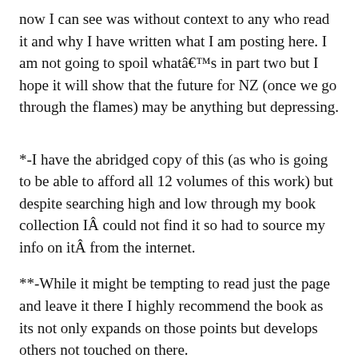now I can see was without context to any who read it and why I have written what I am posting here. I am not going to spoil whatâ€™s in part two but I hope it will show that the future for NZ (once we go through the flames) may be anything but depressing.
*-I have the abridged copy of this (as who is going to be able to afford all 12 volumes of this work) but despite searching high and low through my book collection IÂ could not find it so had to source my info on itÂ from the internet.
**-While it might be tempting to read just the page and leave it there I highly recommend the book as its not only expands on those points but develops others not touched on there.
This entry was posted in An inclusive society, Blogosphere, Environment, governance, History, Politics, Social change on